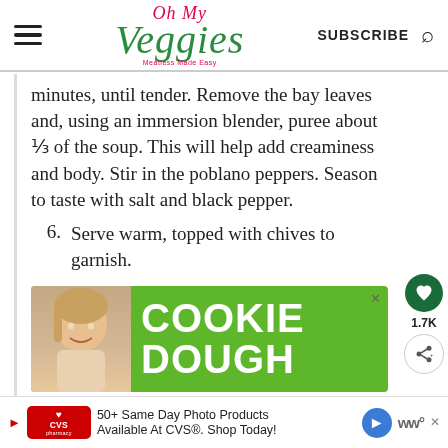[Figure (logo): Oh My Veggies logo with hamburger menu and subscribe/search header]
minutes, until tender. Remove the bay leaves and, using an immersion blender, puree about ⅓ of the soup. This will help add creaminess and body. Stir in the poblano peppers. Season to taste with salt and black pepper.
6. Serve warm, topped with chives to garnish.
[Figure (photo): Cookie Dough advertisement banner with green background, child photo, and large white text reading COOKIE DOUGH]
[Figure (photo): CVS Pharmacy advertisement banner: 50+ Same Day Photo Products Available At CVS®. Shop Today!]